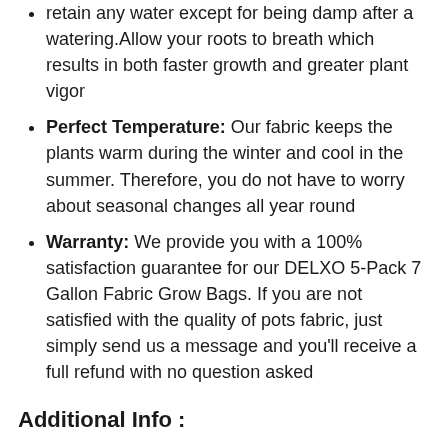retain any water except for being damp after a watering.Allow your roots to breath which results in both faster growth and greater plant vigor
Perfect Temperature: Our fabric keeps the plants warm during the winter and cool in the summer. Therefore, you do not have to worry about seasonal changes all year round
Warranty: We provide you with a 100% satisfaction guarantee for our DELXO 5-Pack 7 Gallon Fabric Grow Bags. If you are not satisfied with the quality of pots fabric, just simply send us a message and you'll receive a full refund with no question asked
Additional Info :